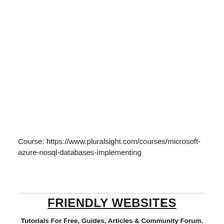Course: https://www.pluralsight.com/courses/microsoft-azure-nosql-databases-implementing
FRIENDLY WEBSITES
Tutorials For Free, Guides, Articles & Community Forum.
[Figure (logo): Partial view of two website logos at bottom of page, one with red background and one with black/red split]